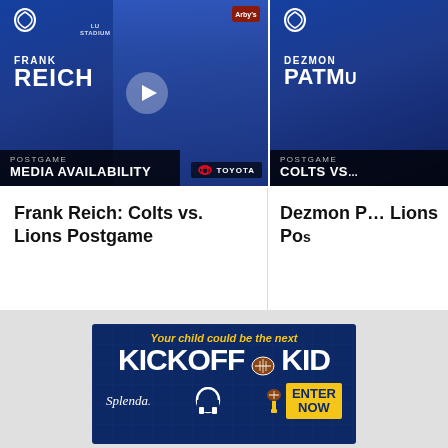[Figure (screenshot): Video thumbnail for Frank Reich Colts vs Lions Postgame Media Availability press conference, with Toyota badge, Arby's sponsor logos, Lucas Oil Stadium branding on blue background with play button]
Frank Reich: Colts vs. Lions Postgame
[Figure (screenshot): Video thumbnail for Dezmon Patmon Colts vs Lions Postgame on blue background with Colts logo]
Dezmon Patmon: Colts vs. Lions Postgame
[Figure (infographic): Splenda and Indianapolis Colts Kickoff Kid contest advertisement on dark blue background. Text reads: 'Your child could be the next KICKOFF KID' with football graphic, Splenda logo, Colts horseshoe logo, and ENTER NOW button in yellow.]